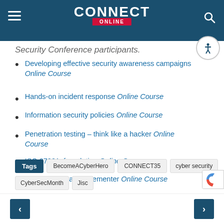CONNECT ONLINE
Security Conference participants.
Developing effective security awareness campaigns Online Course
Hands-on incident response Online Course
Information security policies Online Course
Penetration testing – think like a hacker Online Course
ISO 27001: foundation Online Course
ISO 27001: lead implementer Online Course
Tags BecomeACyberHero CONNECT35 cyber security CyberSecMonth Jisc